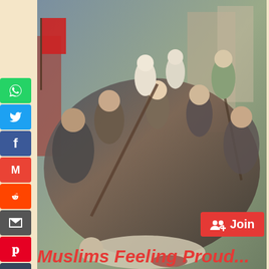[Figure (illustration): Historical painting depicting a violent crowd scene with figures wielding weapons]
Muslim invaders never had courage to fight face to face with Hindu Kings. They resorted to attacking at night on women, children when everyone were asleep...true to terrorist activities of attacking innocent people taught in koran. HariBhakt.com
Join
Muslims Feeling Proud...